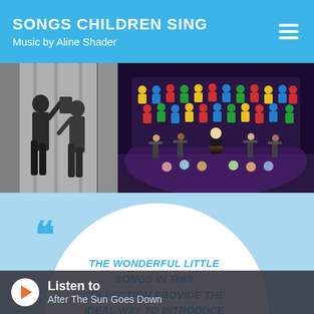SONGS CHILDREN SING
Music by Aline Shader
[Figure (photo): Black and white vintage photo of two children dancing or performing on a stage with curtains in the background.]
[Figure (photo): Color photo of a large children's choir wearing colorful shirts on a stage, with a conductor in front and musicians in the background, under stage lighting.]
THE WONDERFUL LITTLE SONGS IN THIS COLLECTION PROVIDE THE IDEAL WAY TO INTRODUCE YOUNGSTERS TO MUSIC. EACH SONG IMPARTS A MESSAGE OF KINDNESS, LOVE, AND ...
Listen to
After The Sun Goes Down